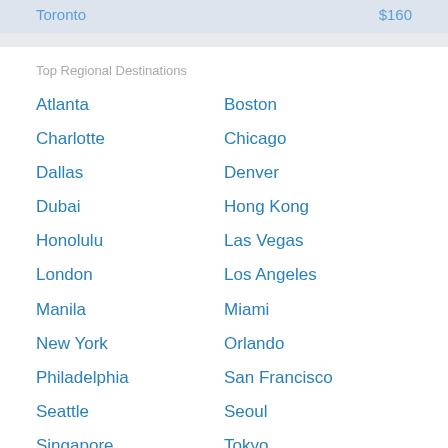Toronto  $160
Top Regional Destinations
Atlanta
Boston
Charlotte
Chicago
Dallas
Denver
Dubai
Hong Kong
Honolulu
Las Vegas
London
Los Angeles
Manila
Miami
New York
Orlando
Philadelphia
San Francisco
Seattle
Seoul
Singapore
Tokyo